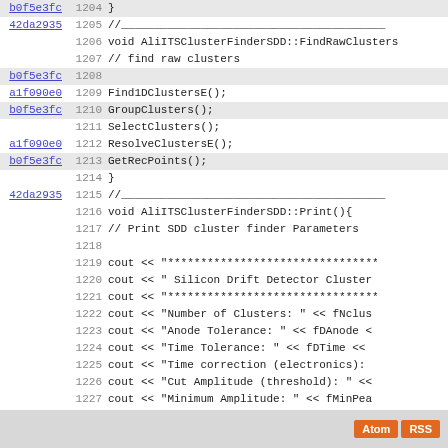Code listing: AliITSClusterFinderSDD lines 1204-1232
Atom RSS